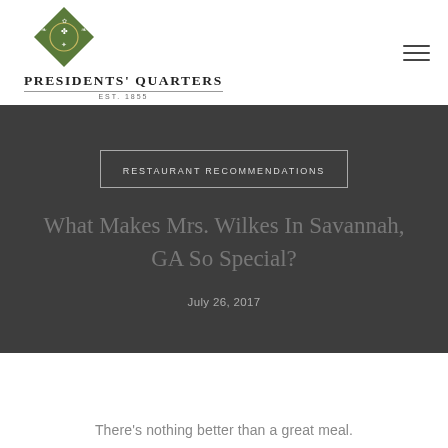[Figure (logo): Presidents' Quarters inn logo: green diamond shape with decorative crest, text 'Presidents' Quarters' and 'EST. 1855' below]
RESTAURANT RECOMMENDATIONS
What Makes Mrs. Wilkes In Savannah, GA So Special?
July 26, 2017
There's nothing better than a great meal.